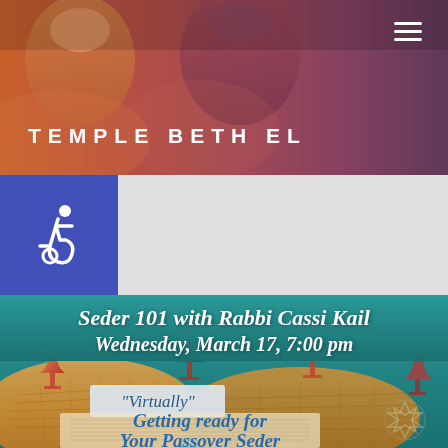[Figure (photo): Header photo of children, blurred background with warm orange and purple tones. Temple Beth El website header.]
TEMPLE BETH EL
[Figure (infographic): Accessibility icon (wheelchair symbol) on blue background, followed by white space for navigation.]
[Figure (infographic): Event promotional banner on teal background reading 'Seder 101 with Rabbi Cassi Kail, Wednesday, March 17, 7:00 pm' with Passover-themed collage below showing matzah, wine glasses labeled 'Virtually', and text 'Getting ready for Your Passover Seder']